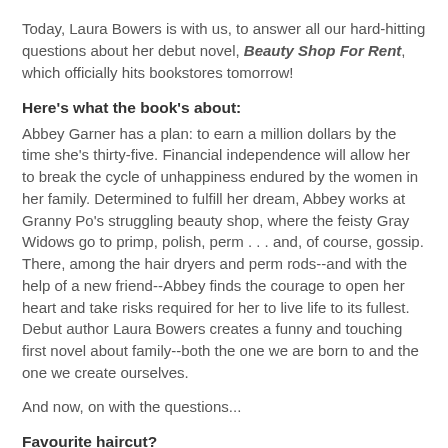Today, Laura Bowers is with us, to answer all our hard-hitting questions about her debut novel, Beauty Shop For Rent, which officially hits bookstores tomorrow!
Here's what the book's about:
Abbey Garner has a plan: to earn a million dollars by the time she's thirty-five. Financial independence will allow her to break the cycle of unhappiness endured by the women in her family. Determined to fulfill her dream, Abbey works at Granny Po's struggling beauty shop, where the feisty Gray Widows go to primp, polish, perm . . . and, of course, gossip. There, among the hair dryers and perm rods--and with the help of a new friend--Abbey finds the courage to open her heart and take risks required for her to live life to its fullest. Debut author Laura Bowers creates a funny and touching first novel about family--both the one we are born to and the one we create ourselves.
And now, on with the questions...
Favourite haircut?